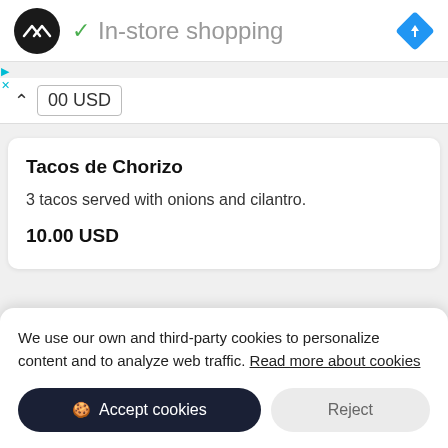[Figure (logo): Black circular logo with white double-arrow symbol, and blue diamond navigation icon on the right]
✓ In-store shopping
00 USD
Tacos de Chorizo
3 tacos served with onions and cilantro.
10.00 USD
We use our own and third-party cookies to personalize content and to analyze web traffic. Read more about cookies
Accept cookies
Reject